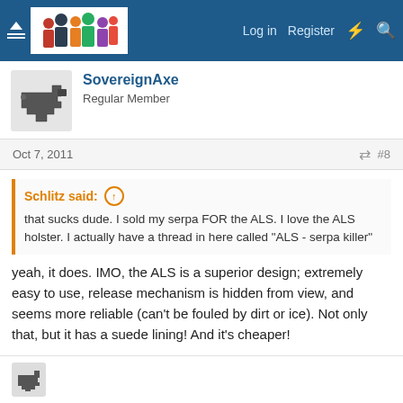Log in  Register
SovereignAxe
Regular Member
Oct 7, 2011  #8
Schlitz said: ↑
that sucks dude. I sold my serpa FOR the ALS. I love the ALS holster. I actually have a thread in here called "ALS - serpa killer"
yeah, it does. IMO, the ALS is a superior design; extremely easy to use, release mechanism is hidden from view, and seems more reliable (can't be fouled by dirt or ice). Not only that, but it has a suede lining! And it's cheaper!

Oh well, I guess that's what I get for buying an "obscure" German pistol.